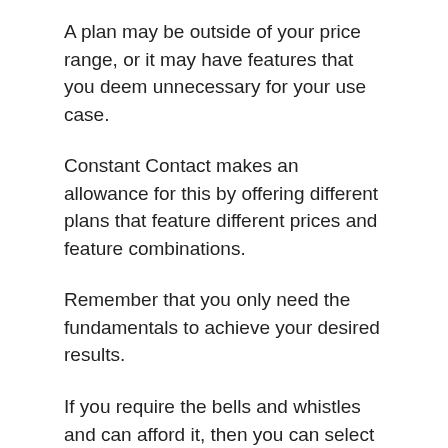A plan may be outside of your price range, or it may have features that you deem unnecessary for your use case.
Constant Contact makes an allowance for this by offering different plans that feature different prices and feature combinations.
Remember that you only need the fundamentals to achieve your desired results.
If you require the bells and whistles and can afford it, then you can select the Email Plus plan. Otherwise, the Email plan can get the job done.
8. Email Marketing For Ecommerce
The...